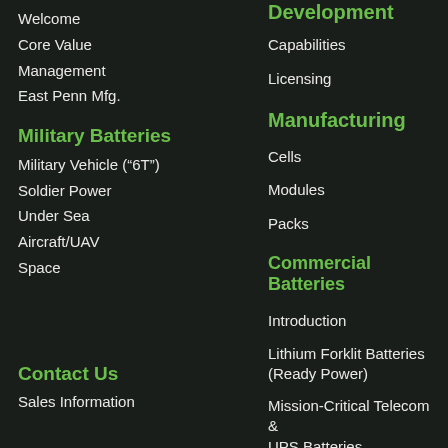Welcome
Core Value
Management
East Penn Mfg.
Military Batteries
Military Vehicle (“6T”)
Soldier Power
Under Sea
Aircraft/UAV
Space
Contact Us
Sales Information
Development
Capabilities
Licensing
Manufacturing
Cells
Modules
Packs
Commercial Batteries
Introduction
Lithium Forklit Batteries (Ready Power)
Mission-Critical Telecom & UPS Batteries
News & Events
Events